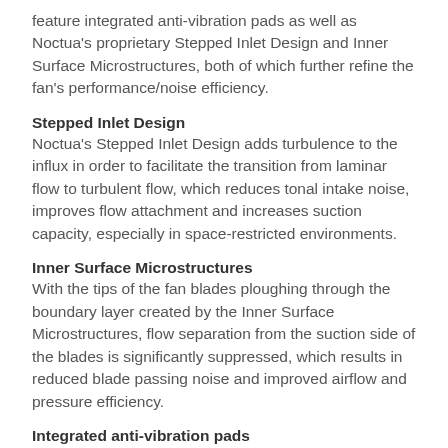feature integrated anti-vibration pads as well as Noctua's proprietary Stepped Inlet Design and Inner Surface Microstructures, both of which further refine the fan's performance/noise efficiency.
Stepped Inlet Design
Noctua's Stepped Inlet Design adds turbulence to the influx in order to facilitate the transition from laminar flow to turbulent flow, which reduces tonal intake noise, improves flow attachment and increases suction capacity, especially in space-restricted environments.
Inner Surface Microstructures
With the tips of the fan blades ploughing through the boundary layer created by the Inner Surface Microstructures, flow separation from the suction side of the blades is significantly suppressed, which results in reduced blade passing noise and improved airflow and pressure efficiency.
Integrated anti-vibration pads